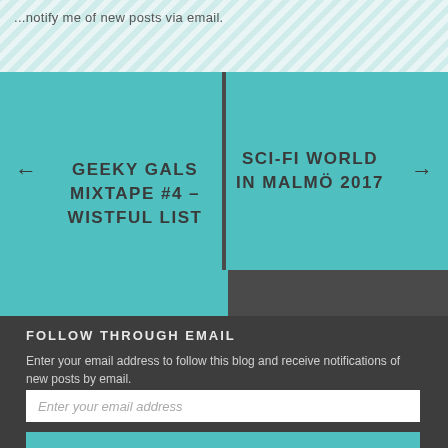...notify me of new posts via email.
GEEKY GALS MIXTAPE #4 – WISTFUL LIST
SCI-FI WORLD IN MALMÖ 2017
FOLLOW THROUGH EMAIL
Enter your email address to follow this blog and receive notifications of new posts by email.
Enter your email address
FOLLOW